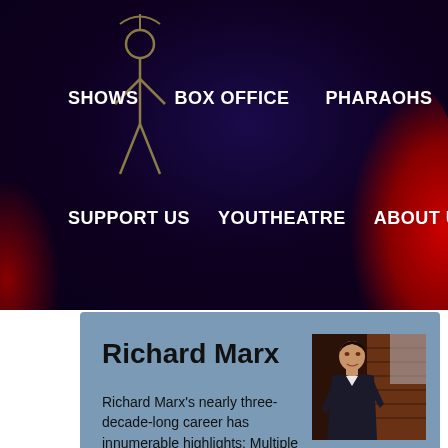SHOWS   BOX OFFICE   PHARAOHS   SUPPORT US   YOUTHEATRE   ABOUT US
Richard Marx
[Figure (photo): Photo of Richard Marx, a man in a dark suit leaning against a brick wall]
Richard Marx's nearly three-decade-long career has innumerable highlights: Multiple Grammys, 30 million albums sold worldwide, and the only male artist in history to have his first seven singles reach Billboard's Top 5.